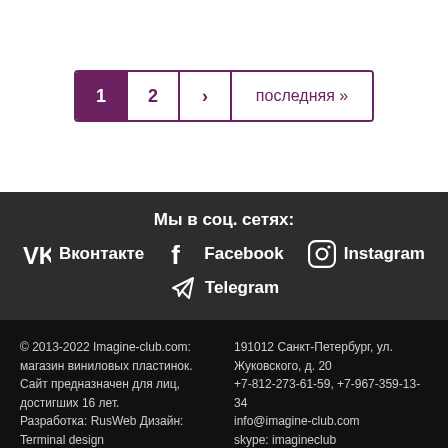1  2  ›  последняя »
Мы в соц. сетях: ВКонтакте  Facebook  Instagram  Telegram
© 2013-2022 Imagine-club.com: магазин виниловых пластинок. Сайт предназначен для лиц, достигших 16 лет. Разработка: RusWeb Дизайн: Terminal design
191012 Санкт-Петербург, ул. Жуковского, д. 20  +7-812-273-61-59, +7-967-359-13-34  info@imagine-club.com  skype: imagineclub